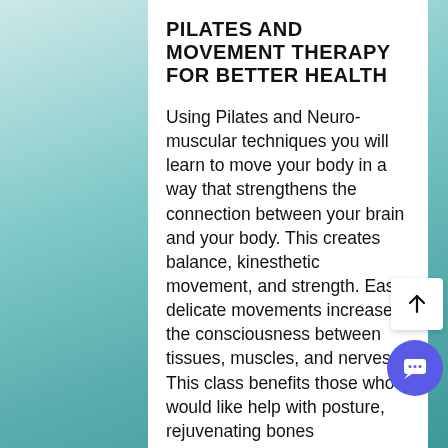PILATES AND MOVEMENT THERAPY FOR BETTER HEALTH
Using Pilates and Neuro-muscular techniques you will learn to move your body in a way that strengthens the connection between your brain and your body. This creates balance, kinesthetic movement, and strength. Easy, delicate movements increase the consciousness between tissues, muscles, and nerves. This class benefits those who would like help with posture, rejuvenating bones (osteoporosis), and auto-immune and neuro-muscular issues. We will also touch on movement to improve